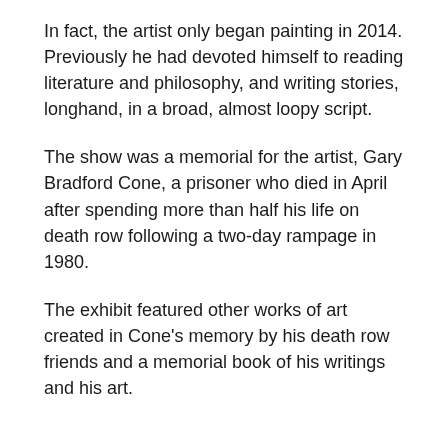In fact, the artist only began painting in 2014. Previously he had devoted himself to reading literature and philosophy, and writing stories, longhand, in a broad, almost loopy script.
The show was a memorial for the artist, Gary Bradford Cone, a prisoner who died in April after spending more than half his life on death row following a two-day rampage in 1980.
The exhibit featured other works of art created in Cone's memory by his death row friends and a memorial book of his writings and his art.
Gary Cone
As a young man, Cone served four years in the military,